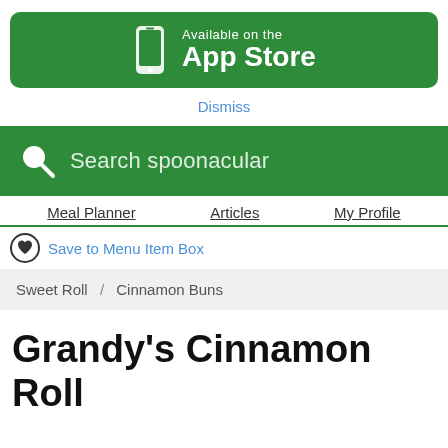[Figure (screenshot): Green App Store banner with phone icon and 'Available on the App Store' text]
Dismiss
[Figure (screenshot): Green search bar with magnifying glass icon and 'Search spoonacular' placeholder text]
Meal Planner   Articles   My Profile
Save to Menu Item Box
Sweet Roll / Cinnamon Buns
Grandy's Cinnamon Roll